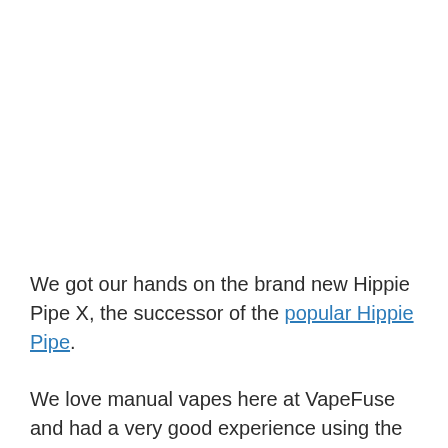We got our hands on the brand new Hippie Pipe X, the successor of the popular Hippie Pipe.
We love manual vapes here at VapeFuse and had a very good experience using the